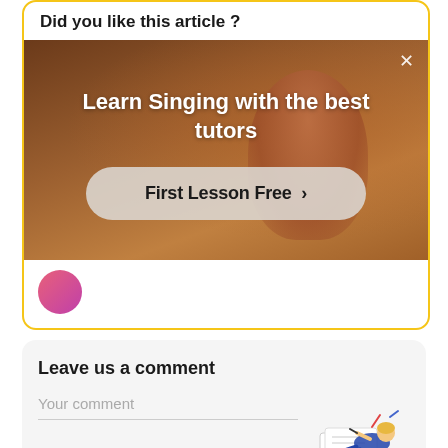Did you like this article ?
[Figure (photo): Advertisement banner with a person in a room, promoting singing lessons with text 'Learn Singing with the best tutors' and a 'First Lesson Free >' button. Has an X close button in the top right.]
Leave us a comment
Your comment